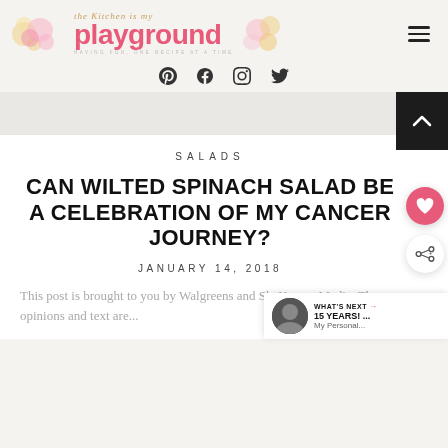the Kitchen is my playground — HAVING FUN, ONE RECIPE AT A TIME
[Figure (logo): The Kitchen is My Playground blog logo with decorative flowers in pink and gold, pink main text, subtitle in small caps]
[Figure (infographic): Social media icons row: Pinterest, Facebook, Instagram, Twitter]
SALADS
CAN WILTED SPINACH SALAD BE A CELEBRATION OF MY CANCER JOURNEY?
JANUARY 14, 2018
This post is brought to you by Walgreens and SheKnows Media. The opinions and text are...